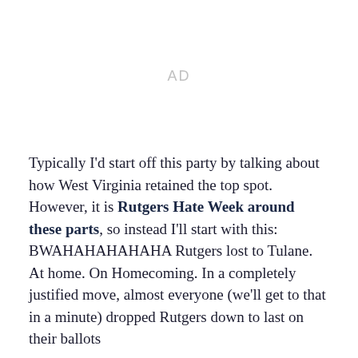[Figure (other): Advertisement placeholder showing 'AD' in light gray text on white background]
Typically I'd start off this party by talking about how West Virginia retained the top spot. However, it is Rutgers Hate Week around these parts, so instead I'll start with this: BWAHAHAHAHAHA Rutgers lost to Tulane. At home. On Homecoming. In a completely justified move, almost everyone (we'll get to that in a minute) dropped Rutgers down to last on their ballots